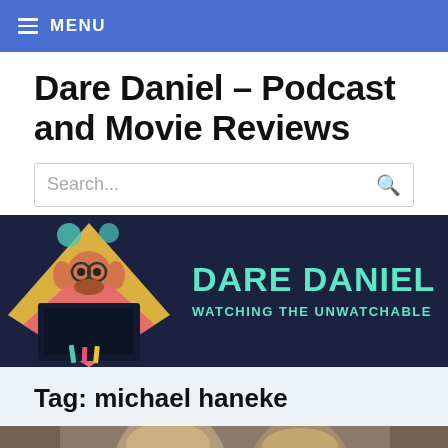≡ MENU
Dare Daniel – Podcast and Movie Reviews
Search...
[Figure (illustration): Dare Daniel podcast banner with illustrated person watching screen and text 'DARE DANIEL – WATCHING THE UNWATCHABLE' in teal on dark navy background]
Tag: michael haneke
[Figure (photo): Partial photo of two people, appears to be a movie still]